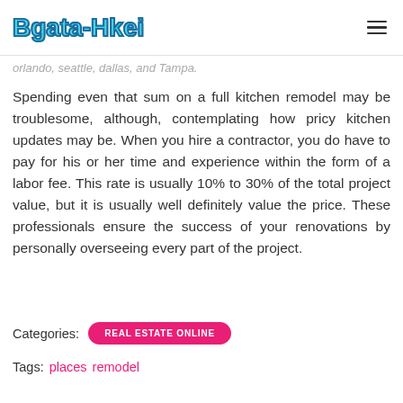Bgata-Hkei
orlando, seattle, dallas, and Tampa.
Spending even that sum on a full kitchen remodel may be troublesome, although, contemplating how pricy kitchen updates may be. When you hire a contractor, you do have to pay for his or her time and experience within the form of a labor fee. This rate is usually 10% to 30% of the total project value, but it is usually well definitely value the price. These professionals ensure the success of your renovations by personally overseeing every part of the project.
Categories: REAL ESTATE ONLINE
Tags: places remodel